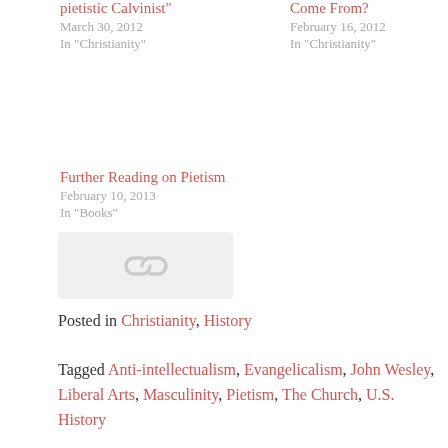pietistic Calvinist"
March 30, 2012
In "Christianity"
Come From?
February 16, 2012
In "Christianity"
Further Reading on Pietism
February 10, 2013
In "Books"
[Figure (other): Gray placeholder image with a chain/link icon]
Posted in Christianity, History
Tagged Anti-intellectualism, Evangelicalism, John Wesley, Liberal Arts, Masculinity, Pietism, The Church, U.S. History